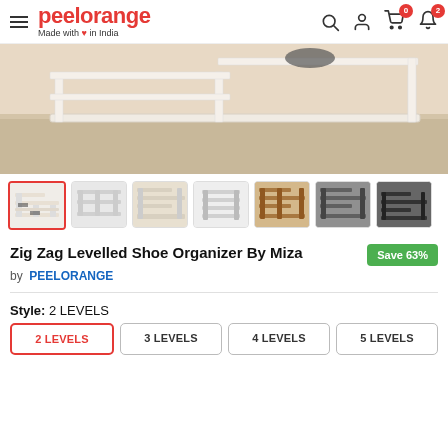peelorange — Made with love in India
[Figure (photo): Product photo of a white zig-zag levelled shoe organizer rack on a wooden floor]
[Figure (photo): Thumbnail gallery showing 7 images of the Zig Zag Levelled Shoe Organizer in various angles and color variants]
Zig Zag Levelled Shoe Organizer By Miza
Save 63%
by PEELORANGE
Style: 2 LEVELS
2 LEVELS
3 LEVELS
4 LEVELS
5 LEVELS